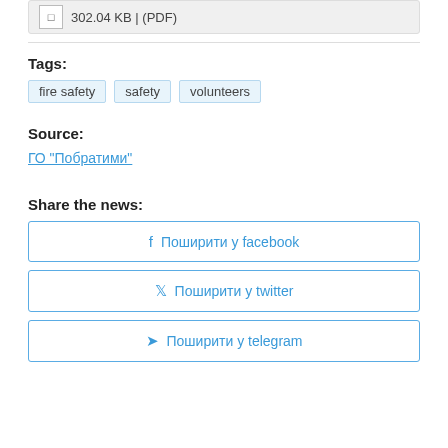302.04 KB | (PDF)
Tags:
fire safety
safety
volunteers
Source:
ГО "Побратими"
Share the news:
Поширити у facebook
Поширити у twitter
Поширити у telegram